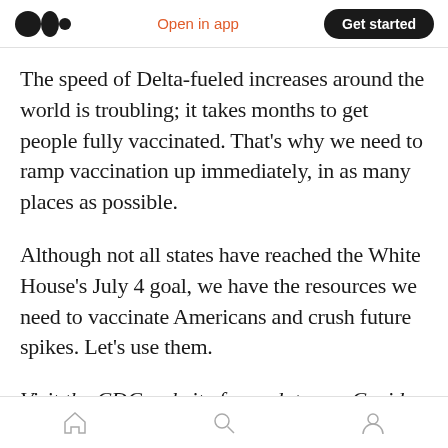Medium logo | Open in app | Get started
The speed of Delta-fueled increases around the world is troubling; it takes months to get people fully vaccinated. That's why we need to ramp vaccination up immediately, in as many places as possible.
Although not all states have reached the White House's July 4 goal, we have the resources we need to vaccinate Americans and crush future spikes. Let's use them.
Visit the CDC website for updates on Covid safety guidelines and information on how to get
Home | Search | Profile